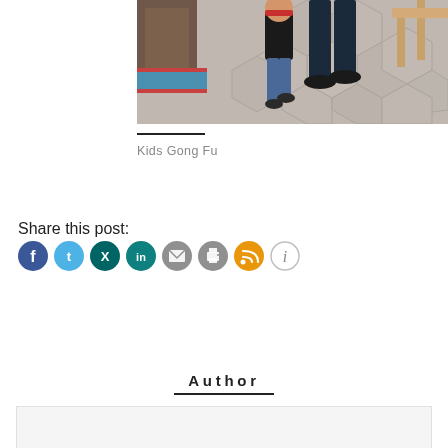[Figure (photo): A child in a black tank top and blue jeans walking on hexagonal stone pavement, with an adult partially visible beside them. A colorful mat is visible on the left.]
Kids Gong Fu
Share this post:
[Figure (infographic): Row of social sharing icon buttons: Facebook (blue), Twitter (light blue), Xing (dark teal), LinkedIn (teal), Email (gray), Print (gray), RSS (orange), Info (white/outlined)]
Author